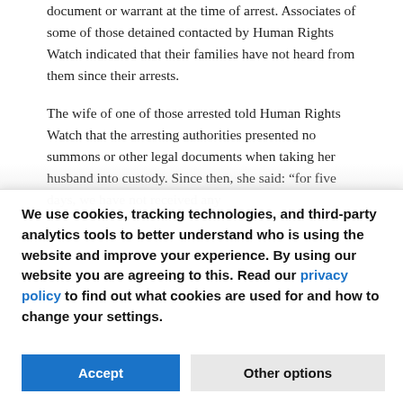document or warrant at the time of arrest. Associates of some of those detained contacted by Human Rights Watch indicated that their families have not heard from them since their arrests.
The wife of one of those arrested told Human Rights Watch that the arresting authorities presented no summons or other legal documents when taking her husband into custody. Since then, she said: “for five days, we have not received any
We use cookies, tracking technologies, and third-party analytics tools to better understand who is using the website and improve your experience. By using our website you are agreeing to this. Read our privacy policy to find out what cookies are used for and how to change your settings.